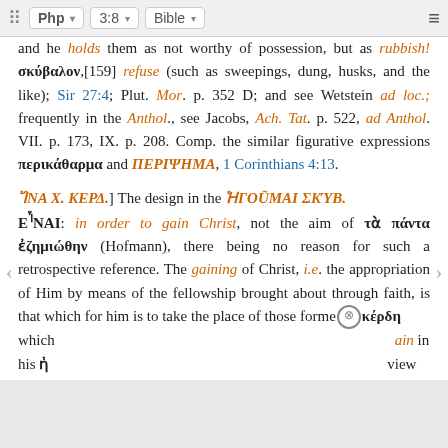Php | 3:8 | Bible
and he holds them as not worthy of possession, but as rubbish! σκύβαλον,[159] refuse (such as sweepings, dung, husks, and the like); Sir 27:4; Plut. Mor. p. 352 D; and see Wetstein ad loc.; frequently in the Anthol., see Jacobs, Ach. Tat. p. 522, ad Anthol. VII. p. 173, IX. p. 208. Comp. the similar figurative expressions περικάθαρμα and ΠΕΡΙΨΗΜΑ, 1 Corinthians 4:13.
ἽΝΑ Χ. ΚΕΡΔ.] The design in the ἩΓΟŨΜΑΙ ΣΚΎΒ. ΕἾΝΑΙ: in order to gain Christ, not the aim of τὰ πάντα ἐζημιώθην (Hofmann), there being no reason for such a retrospective reference. The gaining of Christ, i.e. the appropriation of Him by means of the fellowship brought about through faith, is that which for him is to take the place of those forme… κέρδη which … ain in his ἡ… view